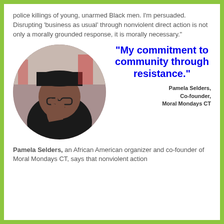police killings of young, unarmed Black men. I'm persuaded. Disrupting 'business as usual' through nonviolent direct action is not only a morally grounded response, it is morally necessary."
[Figure (photo): Circular cropped photo of Pamela Selders, an African American woman, wearing glasses and a dark hat, making a peace sign with her hand.]
“My commitment to community through resistance.”
Pamela Selders, Co-founder, Moral Mondays CT
Pamela Selders, an African American organizer and co-founder of Moral Mondays CT, says that nonviolent action